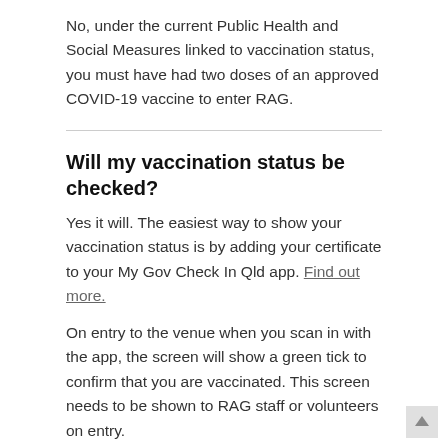No, under the current Public Health and Social Measures linked to vaccination status, you must have had two doses of an approved COVID-19 vaccine to enter RAG.
Will my vaccination status be checked?
Yes it will. The easiest way to show your vaccination status is by adding your certificate to your My Gov Check In Qld app. Find out more.
On entry to the venue when you scan in with the app, the screen will show a green tick to confirm that you are vaccinated. This screen needs to be shown to RAG staff or volunteers on entry.
If you do not have a smart phone then you can also show your